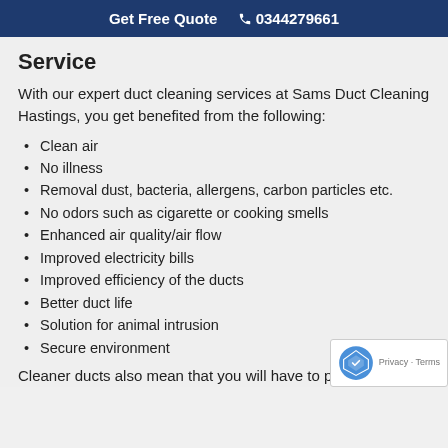Get Free Quote  📞 0344279661
Service
With our expert duct cleaning services at Sams Duct Cleaning Hastings, you get benefited from the following:
Clean air
No illness
Removal dust, bacteria, allergens, carbon particles etc.
No odors such as cigarette or cooking smells
Enhanced air quality/air flow
Improved electricity bills
Improved efficiency of the ducts
Better duct life
Solution for animal intrusion
Secure environment
Cleaner ducts also mean that you will have to put in less effort to clean your furniture and carpets.